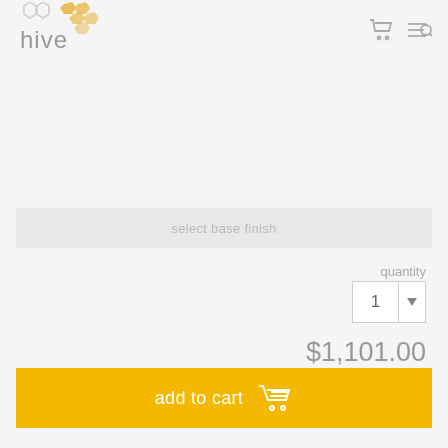[Figure (logo): Hive brand logo with hexagon pattern and 'hive' text in grey]
[Figure (illustration): Honeycomb pattern swatch panel showing many hexagonal color tiles in various browns, tans, greys, blacks and earth tones]
select base finish
quantity
1
$1,101.00
free shipping
add to cart